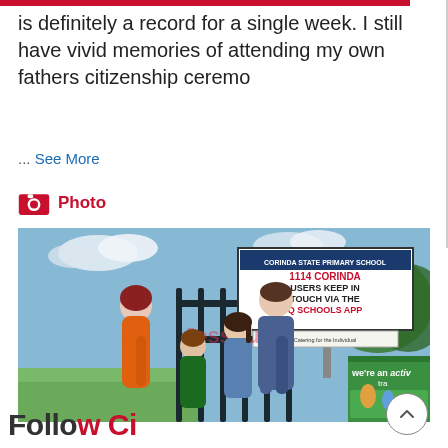is definitely a record for a single week. I still have vivid memories of attending my own fathers citizenship ceremo
... See More
Photo
[Figure (photo): A woman in an orange dress and a man in a blue polo shirt stand with two children outside Corinda State Primary School. A sign reads '1114 CORINDA USERS KEEP IN TOUCH VIA THE Q SCHOOLS APP'. A watermark reads 'Jess Pugh'. A banner on the right reads 'we're an activ tra'.]
Follow Ci...and MP